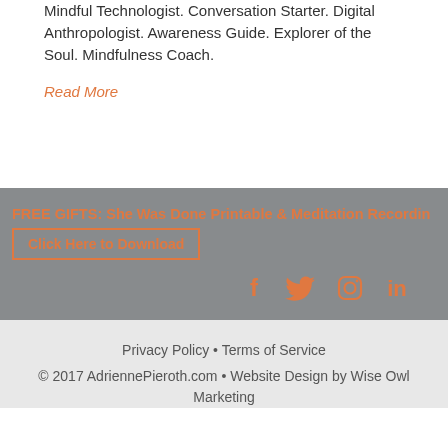Mindful Technologist. Conversation Starter. Digital Anthropologist. Awareness Guide. Explorer of the Soul. Mindfulness Coach.
Read More
FREE GIFTS: She Was Done Printable & Meditation Recordings
Click Here to Download
[Figure (infographic): Social media icons: Facebook, Twitter, Instagram, LinkedIn in orange on gray background]
Privacy Policy • Terms of Service
© 2017 AdriennePieroth.com • Website Design by Wise Owl Marketing